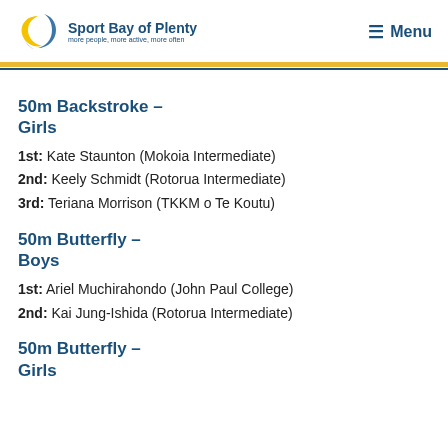Sport Bay of Plenty — more people, more active, more often | Menu
50m Backstroke – Girls
1st: Kate Staunton (Mokoia Intermediate)
2nd: Keely Schmidt (Rotorua Intermediate)
3rd: Teriana Morrison (TKKM o Te Koutu)
50m Butterfly – Boys
1st: Ariel Muchirahondo (John Paul College)
2nd: Kai Jung-Ishida (Rotorua Intermediate)
50m Butterfly – Girls